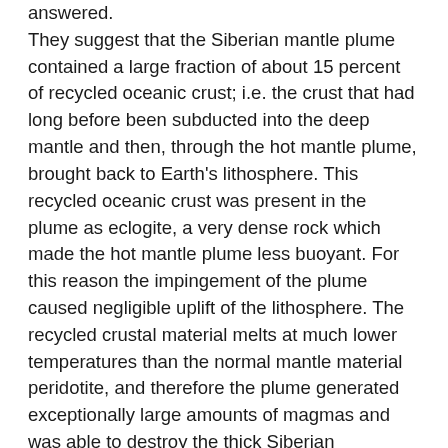answered. They suggest that the Siberian mantle plume contained a large fraction of about 15 percent of recycled oceanic crust; i.e. the crust that had long before been subducted into the deep mantle and then, through the hot mantle plume, brought back to Earth's lithosphere. This recycled oceanic crust was present in the plume as eclogite, a very dense rock which made the hot mantle plume less buoyant. For this reason the impingement of the plume caused negligible uplift of the lithosphere. The recycled crustal material melts at much lower temperatures than the normal mantle material peridotite, and therefore the plume generated exceptionally large amounts of magmas and was able to destroy the thick Siberian lithosphere thermally, chemically and mechanically during a very short period of only a few hundred thousand years. During this process, the recycled crust, being exceptionally rich in volatiles such as CO2 and halogens, degassed and liberated gases that passed